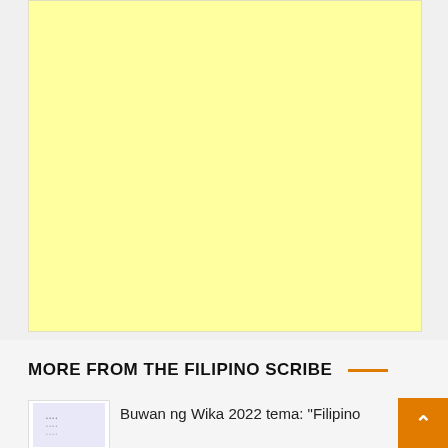[Figure (other): Large yellow/cream colored rectangular block filling upper portion of page, likely an advertisement or placeholder image area]
MORE FROM THE FILIPINO SCRIBE
[Figure (illustration): Small thumbnail image with colorful dots/text pattern on white background]
Buwan ng Wika 2022 tema: "Filipino